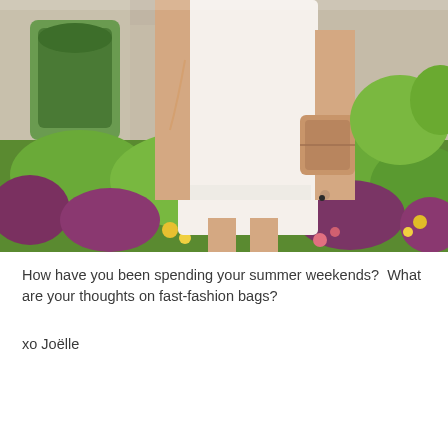[Figure (photo): A woman wearing a white lace-trimmed dress and carrying a tan/camel colored saddle bag, standing in front of lush green and purple-red foliage with yellow and pink flowers, and a stone building with green-framed arched window in the background.]
How have you been spending your summer weekends?  What are your thoughts on fast-fashion bags?
xo Joëlle